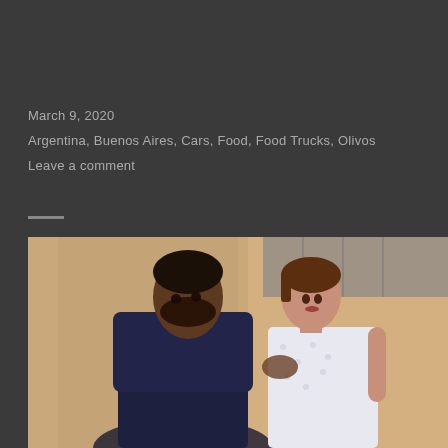March 9, 2020
Argentina, Buenos Aires, Cars, Food, Food Trucks, Olivos
Leave a comment
[Figure (photo): Two people dancing tango outdoors on a street. A man in a dark suit and a woman in a white polka-dot blouse facing each other closely, with the man's hand on the woman's back. Background shows a building facade.]